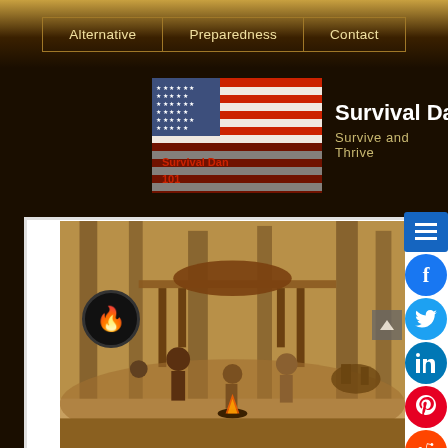Alternative | Preparedness | Contact
[Figure (logo): American flag with Survival Dan 101 text overlay, logo image]
Survival Dan 101
Survive and Thrive
[Figure (photo): Historical pioneer/frontier scene painting showing people around a wooden structure in a forest, with a horse, campfire, and furs. Social media sharing buttons visible on right side.]